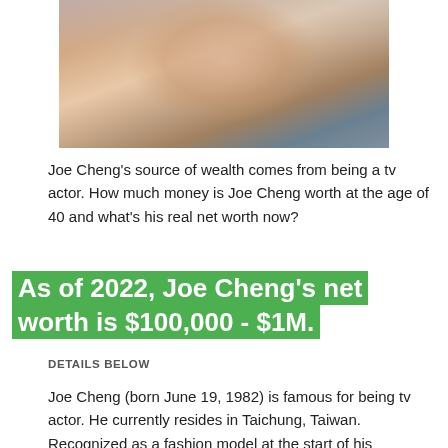[Figure (photo): Close-up photo of Joe Cheng, a young Asian man wearing a striped shirt, cropped at the top of the page]
Joe Cheng's source of wealth comes from being a tv actor. How much money is Joe Cheng worth at the age of 40 and what's his real net worth now?
As of 2022, Joe Cheng's net worth is $100,000 - $1M.
DETAILS BELOW
Joe Cheng (born June 19, 1982) is famous for being tv actor. He currently resides in Taichung, Taiwan. Recognized as a fashion model at the start of his entertainment career, he